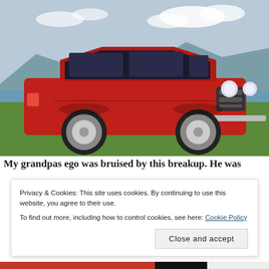[Figure (photo): A classic red Peugeot 404 sedan parked on grass near a coastline with mountains and cloudy sky in the background.]
My grandpas ego was bruised by this breakup. He was
Privacy & Cookies: This site uses cookies. By continuing to use this website, you agree to their use.
To find out more, including how to control cookies, see here: Cookie Policy
Close and accept